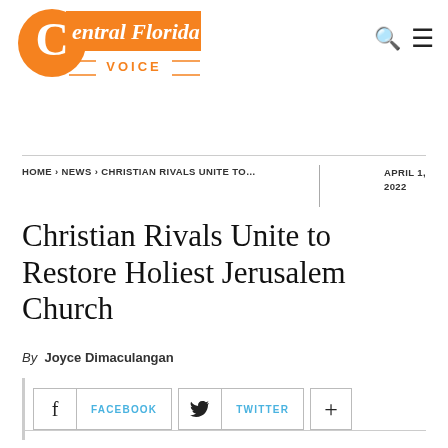[Figure (logo): Central Florida Voice logo — orange speech bubble circle with 'C', orange banner background with 'entral Florida' text, and 'VOICE' in orange below with horizontal rules.]
HOME › NEWS › CHRISTIAN RIVALS UNITE TO...   APRIL 1, 2022
Christian Rivals Unite to Restore Holiest Jerusalem Church
By Joyce Dimaculangan
[Figure (infographic): Social sharing buttons: Facebook, Twitter, and a plus button.]